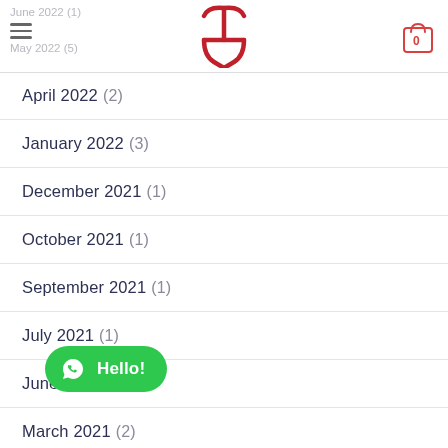June 2022 (1) May 2022 (5) [logo] [cart: 0]
April 2022 (2)
January 2022 (3)
December 2021 (1)
October 2021 (1)
September 2021 (1)
July 2021 (1)
June 2021 (1)
March 2021 (2)
[Figure (other): WhatsApp Hello! chat button (green rounded pill button with WhatsApp icon)]
January 2021 (1)